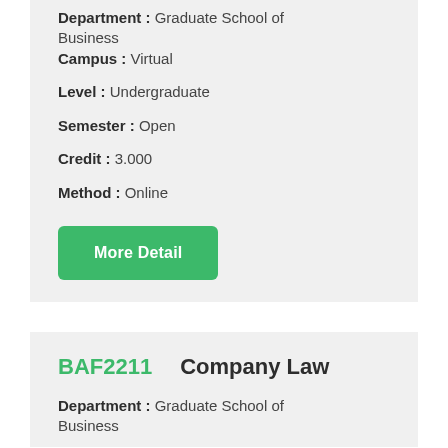Department : Graduate School of Business
Campus : Virtual
Level : Undergraduate
Semester : Open
Credit : 3.000
Method : Online
More Detail
BAF2211   Company Law
Department : Graduate School of Business